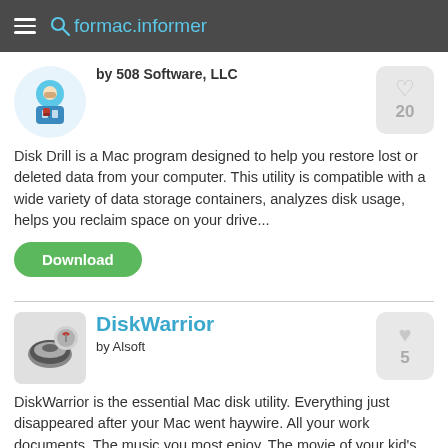formac.informer
by 508 Software, LLC
Disk Drill is a Mac program designed to help you restore lost or deleted data from your computer. This utility is compatible with a wide variety of data storage containers, analyzes disk usage, helps you reclaim space on your drive...
Download
DiskWarrior
by Alsoft
DiskWarrior is the essential Mac disk utility. Everything just disappeared after your Mac went haywire. All your work documents. The music you most enjoy. The movie of your kid's first steps. It's your life and it's gone. Don't panic!
Download